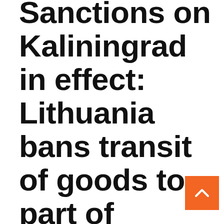Sanctions on Kaliningrad in effect: Lithuania bans transit of goods to part of Russia on the